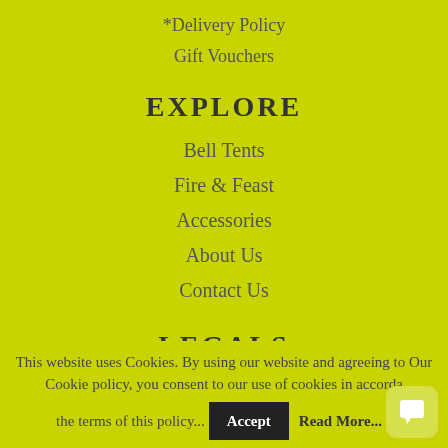*Delivery Policy
Gift Vouchers
EXPLORE
Bell Tents
Fire & Feast
Accessories
About Us
Contact Us
LEGALS
Terms & Conditions
This website uses Cookies. By using our website and agreeing to Our Cookie policy, you consent to our use of cookies in accordance with the terms of this policy...